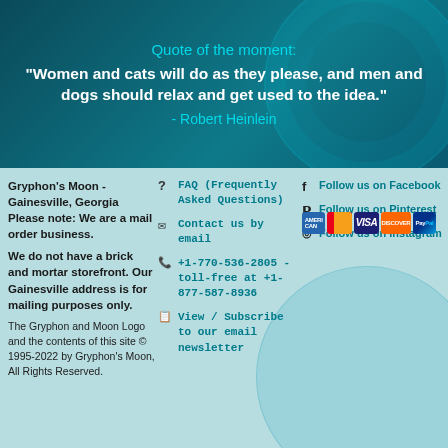Quote of the moment:
"Women and cats will do as they please, and men and dogs should relax and get used to the idea."
- Robert Heinlein
Gryphon's Moon - Gainesville, Georgia Please note: We are a mail order business. We do not have a brick and mortar storefront. Our Gainesville address is for mailing purposes only. The Gryphon and Moon Logo and the contents of this site © 1995-2022 by Gryphon's Moon, All Rights Reserved.
FAQ (Frequently Asked Questions)
Contact us by email
+1-770-536-2805 - toll-free at +1-877-587-8936
View / Subscribe to our email newsletter
Follow us on Facebook
Follow us on Pinterest
Follow us on Instagram
[Figure (other): Payment method logos: American Express, Mastercard, Visa, Discover, PayPal]